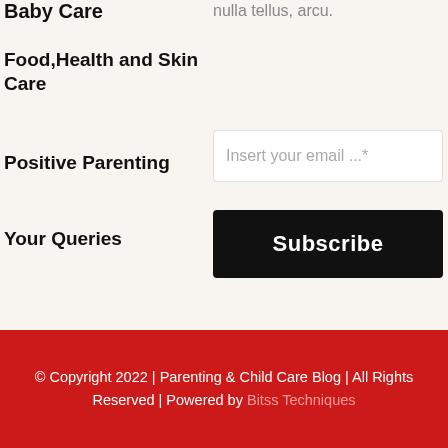Baby Care
nulla tellus, arcu.
Food,Health and Skin Care
Positive Parenting
Your Queries
Insert your email ...*
Subscribe
© Copyright 2022 | Parenting & Child Care Blog | All Rights Reserved | Powered by Bitss Techniques